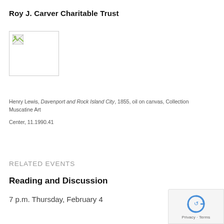Roy J. Carver Charitable Trust
[Figure (photo): Broken image placeholder for artwork photo]
Henry Lewis, Davenport and Rock Island City, 1855, oil on canvas, Collection Muscatine Art Center, 11.1990.41
RELATED EVENTS
Reading and Discussion
7 p.m. Thursday, February 4